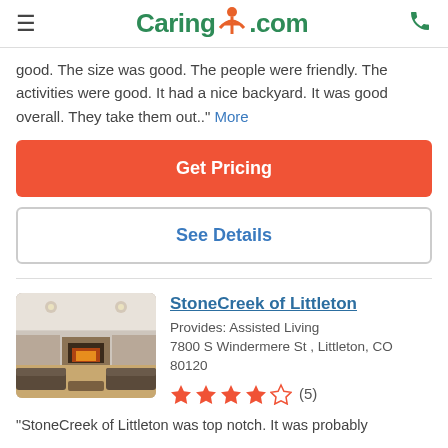Caring.com
good. The size was good. The people were friendly. The activities were good. It had a nice backyard. It was good overall. They take them out.." More
Get Pricing
See Details
StoneCreek of Littleton
Provides: Assisted Living
7800 S Windermere St , Littleton, CO 80120
[Figure (photo): Interior photo of a senior living facility common room with sofas, fireplace, and ceiling]
★★★★☆ (5)
"StoneCreek of Littleton was top notch. It was probably